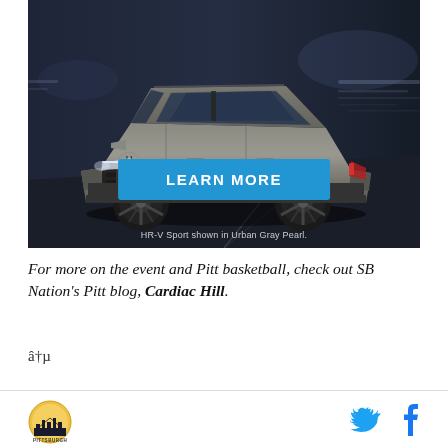[Figure (photo): Honda HR-V Sport SUV in Urban Gray Pearl driving on a dark road, with a blue 'LEARN MORE' button overlay and caption 'HR-V Sport shown in Urban Gray Pearl.']
For more on the event and Pitt basketball, check out SB Nation's Pitt blog, Cardiac Hill.
â†µ
Pittsburgh logo icon | Twitter bird icon | Facebook f icon